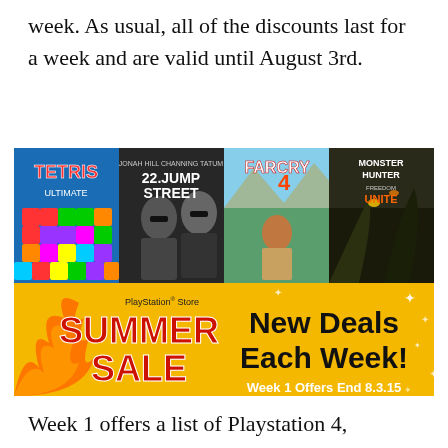week. As usual, all of the discounts last for a week and are valid until August 3rd.
[Figure (illustration): PlayStation Store Summer Sale promotional banner showing game covers for Tetris Ultimate, 22 Jump Street, Far Cry 4, and Monster Hunter Freedom Unite on an orange background with text 'PlayStation Store SUMMER SALE New Deals Each Week! Week 1 Offers End 8.3.15']
Week 1 offers a list of Playstation 4, Playstation 3 and Vita titles with discounts of up to 70%. PS+ members can